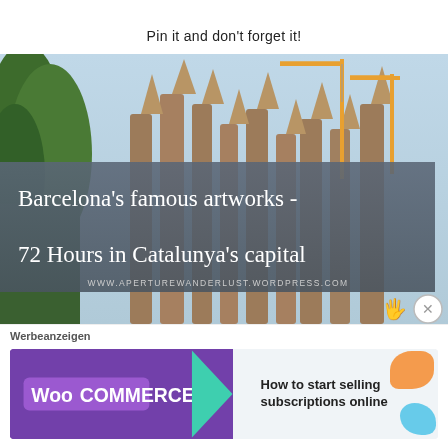Pin it and don't forget it!
[Figure (photo): Photo of Sagrada Familia in Barcelona with construction cranes and trees, overlaid with a dark semi-transparent band showing cursive text 'Barcelona's famous artworks - 72 Hours in Catalunya's capital' and the URL www.aperturewanderlust.wordpress.com]
Werbeanzeigen
[Figure (other): WooCommerce advertisement banner: 'How to start selling subscriptions online']